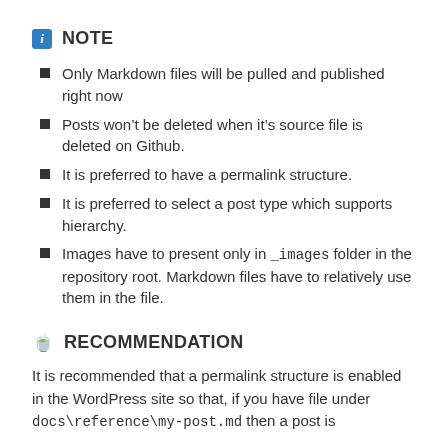NOTE
Only Markdown files will be pulled and published right now
Posts won’t be deleted when it’s source file is deleted on Github.
It is preferred to have a permalink structure.
It is preferred to select a post type which supports hierarchy.
Images have to present only in _images folder in the repository root. Markdown files have to relatively use them in the file.
RECOMMENDATION
It is recommended that a permalink structure is enabled in the WordPress site so that, if you have file under docs\reference\my-post.md then a post is